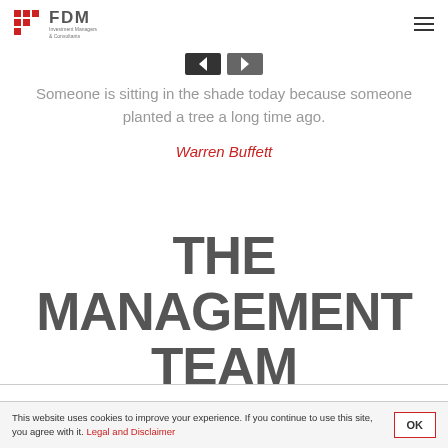FDM Investment Managers & Consultants
[Figure (illustration): Navigation arrow buttons (left/right) for a slideshow or carousel]
Someone is sitting in the shade today because someone planted a tree a long time ago.
Warren Buffett
THE MANAGEMENT TEAM
This website uses cookies to improve your experience. If you continue to use this site, you agree with it. Legal and Disclaimer